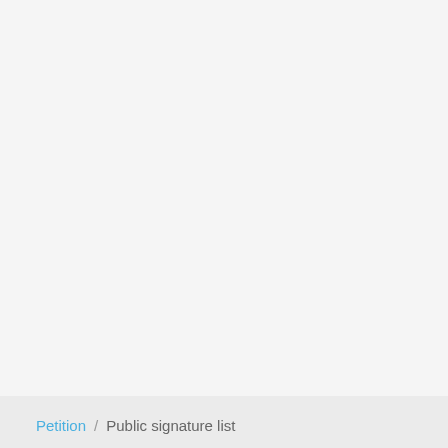Petition / Public signature list